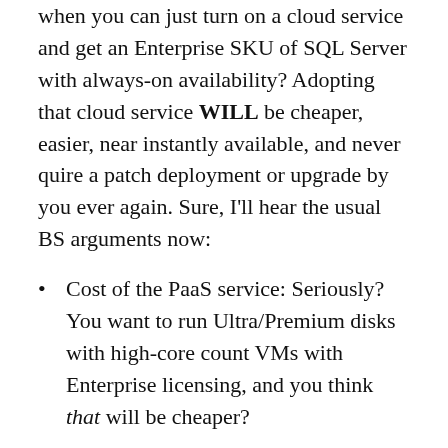when you can just turn on a cloud service and get an Enterprise SKU of SQL Server with always-on availability? Adopting that cloud service WILL be cheaper, easier, near instantly available, and never quire a patch deployment or upgrade by you ever again. Sure, I'll hear the usual BS arguments now:
Cost of the PaaS service: Seriously? You want to run Ultra/Premium disks with high-core count VMs with Enterprise licensing, and you think that will be cheaper?
App compatibility: I'm going Azure-specific here because it's what I know … SQL Managed Instance is SQL Server that you know, but in the platform.
License mobility: Yup, Azure (sorry!)